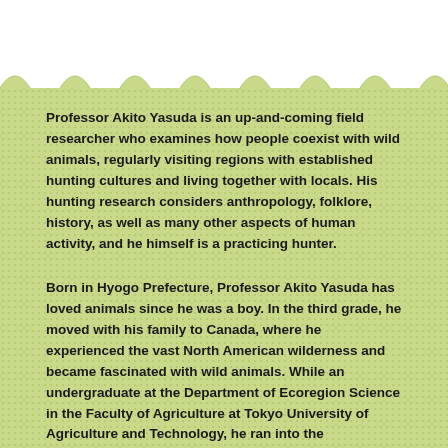Professor Akito Yasuda is an up-and-coming field researcher who examines how people coexist with wild animals, regularly visiting regions with established hunting cultures and living together with locals. His hunting research considers anthropology, folklore, history, as well as many other aspects of human activity, and he himself is a practicing hunter.
Born in Hyogo Prefecture, Professor Akito Yasuda has loved animals since he was a boy. In the third grade, he moved with his family to Canada, where he experienced the vast North American wilderness and became fascinated with wild animals. While an undergraduate at the Department of Ecoregion Science in the Faculty of Agriculture at Tokyo University of Agriculture and Technology, he ran into the fundamental question of what it means to hunt wild game and chose to major in a course that considered nature conservation from a sociological perspective, having met